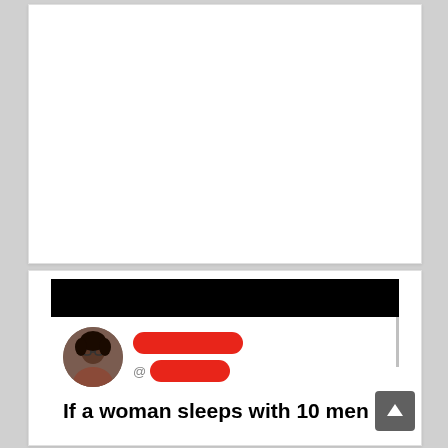[Figure (screenshot): Top white card area, appears blank/empty white space]
[Figure (screenshot): Screenshot of a social media post (Twitter/X) with a black header bar at top, a profile picture of a woman, two redacted name/handle fields shown as red pill shapes, and the beginning of a tweet reading: 'If a woman sleeps with 10 men'. A scroll-to-top button is visible in the bottom right corner.]